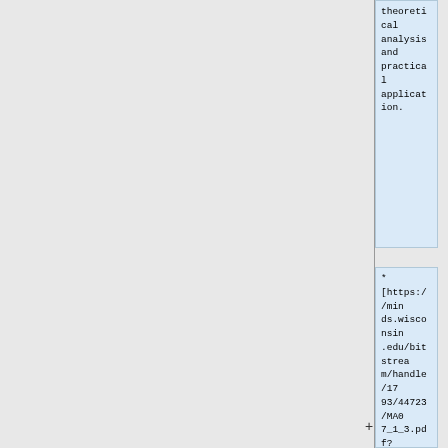theoretical analysis and practical application.
* [https://minds.wisconsin.edu/bitstream/handle/1793/44723/MA07_1_3.pdf?sequence%E2%80%A6 Rates of Processing Manuscripts and Arhives] - PDF download.